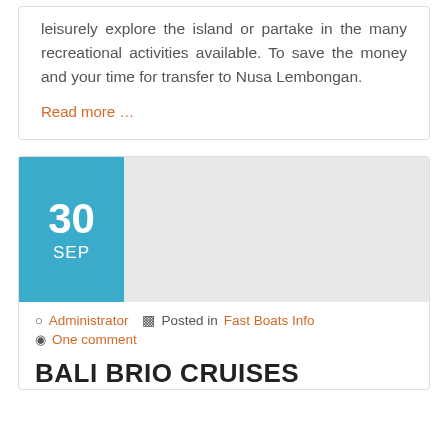leisurely explore the island or partake in the many recreational activities available. To save the money and your time for transfer to Nusa Lembongan.
Read more …
[Figure (other): Date badge showing 30 SEP in teal/cyan color on a gray image placeholder background]
Administrator   Posted in Fast Boats Info
One comment
BALI BRIO CRUISES